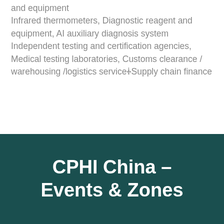and equipment
Infrared thermometers, Diagnostic reagent and equipment, AI auxiliary diagnosis system
Independent testing and certification agencies, Medical testing laboratories, Customs clearance / warehousing /logistics service×Supply chain finance
CPHI China - Events & Zones